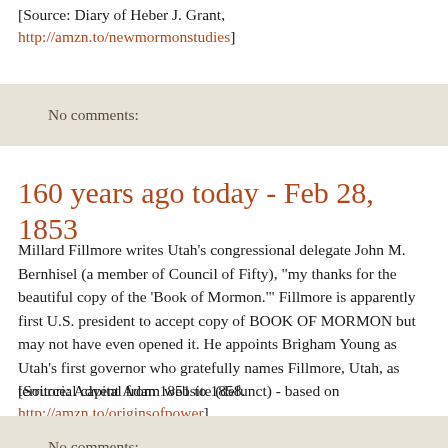[Source: Diary of Heber J. Grant, http://amzn.to/newmormonstudies]
No comments:
160 years ago today - Feb 28, 1853
Millard Fillmore writes Utah's congressional delegate John M. Bernhisel (a member of Council of Fifty), "my thanks for the beautiful copy of the 'Book of Mormon.'" Fillmore is apparently first U.S. president to accept copy of BOOK OF MORMON but may not have even opened it. He appoints Brigham Young as Utah's first governor who gratefully names Fillmore, Utah, as territorial capital from 1851 to 1858.
[Source: Advent Adam website (defunct) - based on http://amzn.to/originsofpower]
No comments: